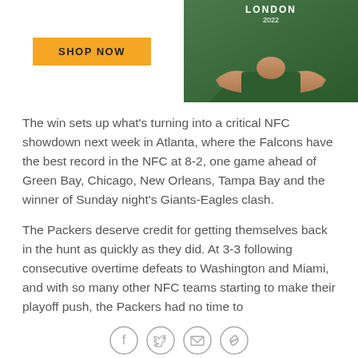[Figure (photo): A person in a dark green shirt with arms crossed; text 'LONDON 2022' visible on shirt. Partially visible upper body crop.]
[Figure (other): Yellow 'SHOP NOW' button on white background]
The win sets up what's turning into a critical NFC showdown next week in Atlanta, where the Falcons have the best record in the NFC at 8-2, one game ahead of Green Bay, Chicago, New Orleans, Tampa Bay and the winner of Sunday night's Giants-Eagles clash.
The Packers deserve credit for getting themselves back in the hunt as quickly as they did. At 3-3 following consecutive overtime defeats to Washington and Miami, and with so many other NFC teams starting to make their playoff push, the Packers had no time to
[Figure (other): Social sharing icon bar with Facebook, Twitter, email, and link icons]